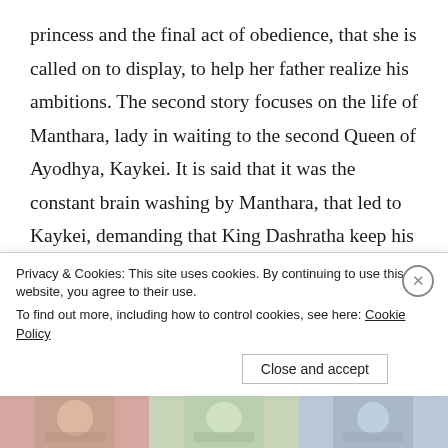princess and the final act of obedience, that she is called on to display, to help her father realize his ambitions. The second story focuses on the life of Manthara, lady in waiting to the second Queen of Ayodhya, Kaykei. It is said that it was the constant brain washing by Manthara, that led to Kaykei, demanding that King Dashratha keep his long given blank promised to her, to give her whatever she wants, that led to exile of Ram. In this re-telling, the reader gets an insight into the distressing circumstances Manthara was born into; she
Privacy & Cookies: This site uses cookies. By continuing to use this website, you agree to their use.
To find out more, including how to control cookies, see here: Cookie Policy
Close and accept